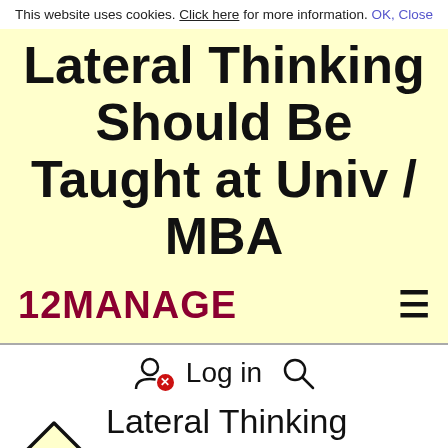This website uses cookies. Click here for more information. OK, Close
Lateral Thinking Should Be Taught at Univ / MBA
12MANAGE
Log in
Lateral Thinking Knowledge Center